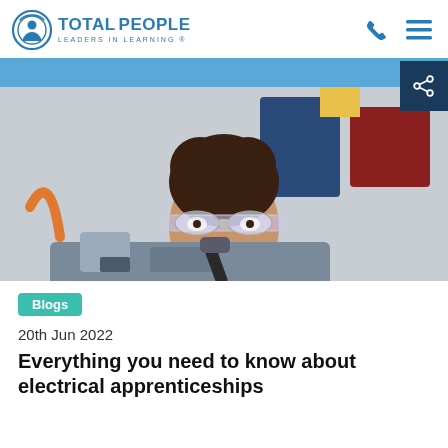Total People — Leaders in Learning
[Figure (photo): Young male student wearing safety goggles working with mechanical equipment in a workshop/lab setting]
Blogs
20th Jun 2022
Everything you need to know about electrical apprenticeships